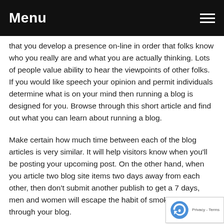Menu
that you develop a presence on-line in order that folks know who you really are and what you are actually thinking. Lots of people value ability to hear the viewpoints of other folks. If you would like speech your opinion and permit individuals determine what is on your mind then running a blog is designed for you. Browse through this short article and find out what you can learn about running a blog.
Make certain how much time between each of the blog articles is very similar. It will help visitors know when you'll be posting your upcoming post. On the other hand, when you article two blog site items two days away from each other, then don't submit another publish to get a 7 days, men and women will escape the habit of smoking of reading through your blog.
If you are looking at blogging, however you don't particularly want to publish, attempt beginning a blog about each of your innovative abilities. You can consider using a digital photography